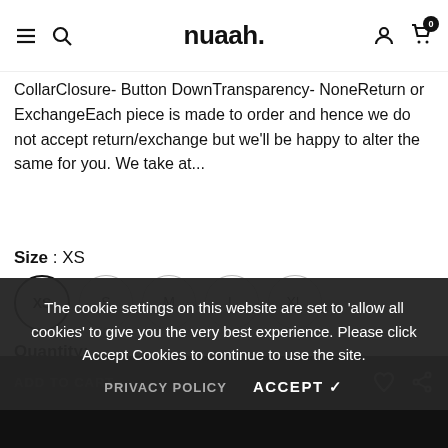nuaah.
CollarClosure- Button DownTransparency- NoneReturn or ExchangeEach piece is made to order and hence we do not accept return/exchange but we'll be happy to alter the same for you. We take at...
Size : XS
XS S M L XL
Quantity:
1
Subtotal: ₹ 1,964.29
ADD TO CART
The cookie settings on this website are set to 'allow all cookies' to give you the very best experience. Please click Accept Cookies to continue to use the site.
PRIVACY POLICY   ACCEPT ✓